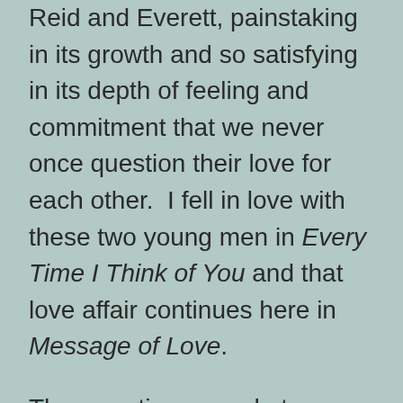Reid and Everett, painstaking in its growth and so satisfying in its depth of feeling and commitment that we never once question their love for each other.  I fell in love with these two young men in Every Time I Think of You and that love affair continues here in Message of Love.
The narrative moved at a slower rate than in the previous novel which is to be expected as it lacks the dramatic impact of Everett's accident.  The details of the reality of Everett's daily regimen and physical bodily functions sometimes slowed the tale's momentum down